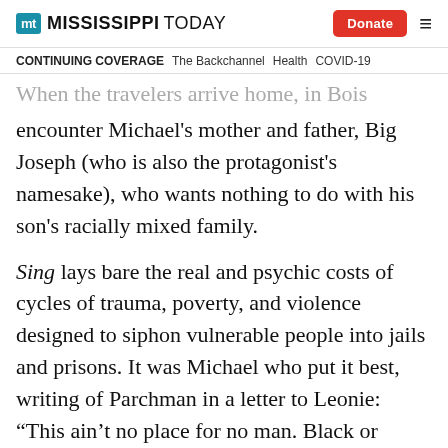MISSISSIPPI TODAY | Donate
CONTINUING COVERAGE   The Backchannel   Health   COVID-19
When the travelers arrive home, in Bois Sauvage, they encounter Michael's mother and father, Big Joseph (who is also the protagonist's namesake), who wants nothing to do with his son's racially mixed family.
Sing lays bare the real and psychic costs of cycles of trauma, poverty, and violence designed to siphon vulnerable people into jails and prisons. It was Michael who put it best, writing of Parchman in a letter to Leonie: “This ain’t no place for no man. Black or White. Don’t make no difference. This is a place for the dead.”